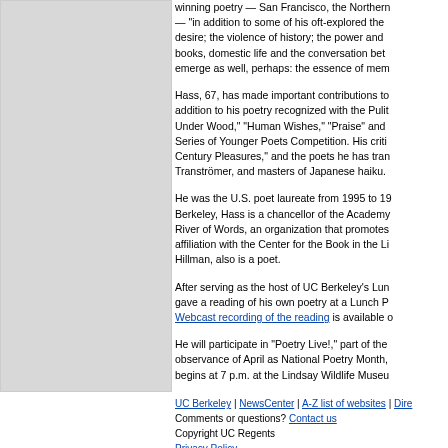winning poetry — San Francisco, the Northern — "in addition to some of his oft-explored themes: desire; the violence of history; the power and books, domestic life and the conversation between emerge as well, perhaps: the essence of mem...
Hass, 67, has made important contributions to addition to his poetry recognized with the Pulitzer Under Wood," "Human Wishes," "Praise" and Series of Younger Poets Competition. His criticism Century Pleasures," and the poets he has translated Tranströmer, and masters of Japanese haiku.
He was the U.S. poet laureate from 1995 to 1997. Berkeley, Hass is a chancellor of the Academy River of Words, an organization that promotes affiliation with the Center for the Book in the Library of Congress. His wife, Brenda Hillman, also is a poet.
After serving as the host of UC Berkeley's Lunch Poems series, Hass gave a reading of his own poetry at a Lunch Poems event. A Webcast recording of the reading is available online.
He will participate in "Poetry Live!," part of the observance of April as National Poetry Month. begins at 7 p.m. at the Lindsay Wildlife Museum
UC Berkeley | NewsCenter | A-Z list of websites | Directory Comments or questions? Contact us Copyright UC Regents Privacy Policy